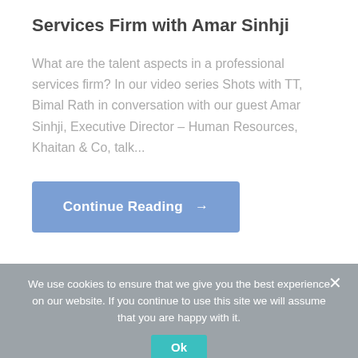Services Firm with Amar Sinhji
What are the talent aspects in a professional services firm? In our video series Shots with TT, Bimal Rath in conversation with our guest Amar Sinhji, Executive Director – Human Resources, Khaitan & Co, talk...
Continue Reading →
We use cookies to ensure that we give you the best experience on our website. If you continue to use this site we will assume that you are happy with it.
Ok